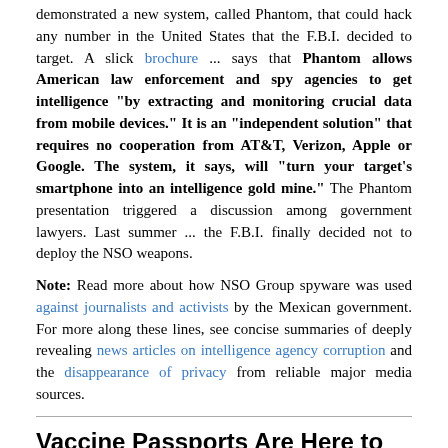demonstrated a new system, called Phantom, that could hack any number in the United States that the F.B.I. decided to target. A slick brochure ... says that Phantom allows American law enforcement and spy agencies to get intelligence "by extracting and monitoring crucial data from mobile devices." It is an "independent solution" that requires no cooperation from AT&T, Verizon, Apple or Google. The system, it says, will "turn your target's smartphone into an intelligence gold mine." The Phantom presentation triggered a discussion among government lawyers. Last summer ... the F.B.I. finally decided not to deploy the NSO weapons.
Note: Read more about how NSO Group spyware was used against journalists and activists by the Mexican government. For more along these lines, see concise summaries of deeply revealing news articles on intelligence agency corruption and the disappearance of privacy from reliable major media sources.
Vaccine Passports Are Here to Stay. Why Worry?